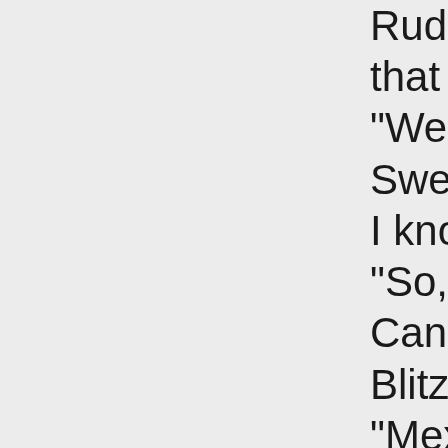Rudolph twitch that he went cr "Well Santa, he Sweden and S I know that bec "So, you didn't Canada and Sc Blitzen said, "W "Mexico?" Das canal?" "Hollywood?" T Hollywood Chr "Pardon me, I'r "N